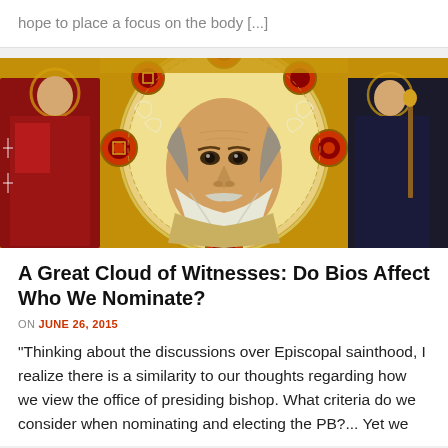hope to place a focus on the body [...]
[Figure (illustration): Byzantine/medieval icon painting of a bearded saint (likely St. Nicholas) with a golden halo decorated with circular red and white ornamental designs, flanked by two smaller figures on left and right against a gold ground background.]
A Great Cloud of Witnesses: Do Bios Affect Who We Nominate?
ON JUNE 26, 2015
“Thinking about the discussions over Episcopal sainthood, I realize there is a similarity to our thoughts regarding how we view the office of presiding bishop. What criteria do we consider when nominating and electing the PB?... Yet we